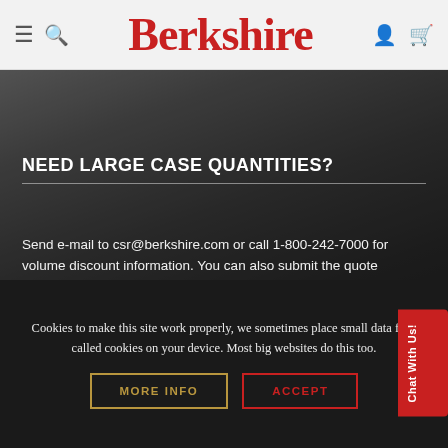Berkshire
NEED LARGE CASE QUANTITIES?
Send e-mail to csr@berkshire.com or call 1-800-242-7000 for volume discount information. You can also submit the quote request form above next to the add to cart button above.
Cookies to make this site work properly, we sometimes place small data files called cookies on your device. Most big websites do this too.
MORE INFO
ACCEPT